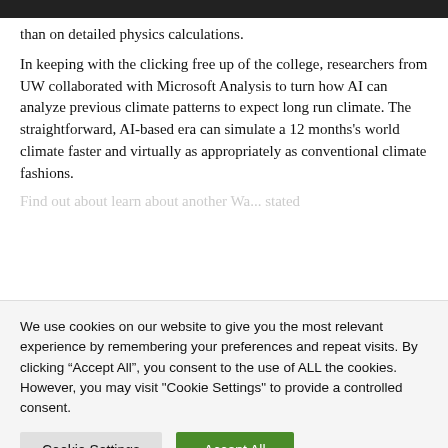than on detailed physics calculations.
In keeping with the clicking free up of the college, researchers from UW collaborated with Microsoft Analysis to turn how AI can analyze previous climate patterns to expect long run climate. The straightforward, AI-based era can simulate a 12 months's world climate faster and virtually as appropriately as conventional climate fashions.
Find out about learn about another Wa... stated
We use cookies on our website to give you the most relevant experience by remembering your preferences and repeat visits. By clicking “Accept All”, you consent to the use of ALL the cookies. However, you may visit "Cookie Settings" to provide a controlled consent.
Cookie Settings
Accept All